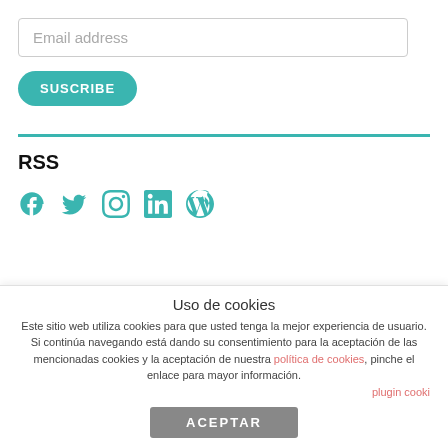Email address
SUSCRIBE
RSS
[Figure (illustration): Social media icons: Facebook, Twitter, Instagram, LinkedIn, WordPress in teal color]
EVENTS & NEWS
Uso de cookies
Este sitio web utiliza cookies para que usted tenga la mejor experiencia de usuario. Si continúa navegando está dando su consentimiento para la aceptación de las mencionadas cookies y la aceptación de nuestra política de cookies, pinche el enlace para mayor información.
plugin cooki
ACEPTAR